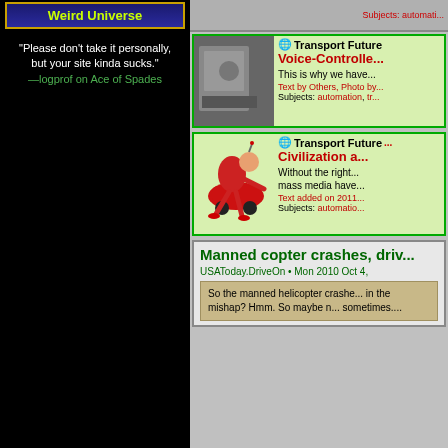Weird Universe
"Please don't take it personally, but your site kinda sucks." —logprof on Ace of Spades
[Figure (screenshot): Top strip on right column showing partial link text in red]
[Figure (photo): Black and white historical photo of a person near a vehicle]
Transport Future - Voice-Controlled... This is why we have... Text by Others, Photo by... Subjects: automation, tr...
[Figure (illustration): Cartoon illustration of a man fused with a red car, running]
Transport Future... Civilization a... Without the right... mass media have... Text added on 2011... Subjects: automaton...
Manned copter crashes, driv... USAToday.DriveOn • Mon 2010 Oct 4,
So the manned helicopter crashe... in the mishap? Hmm. So maybe m... sometimes....